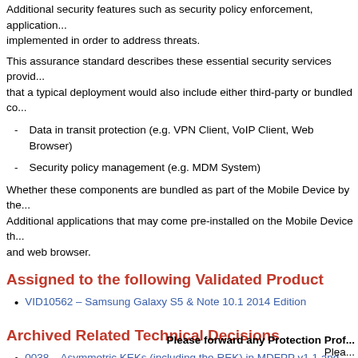Additional security features such as security policy enforcement, application... implemented in order to address threats.
This assurance standard describes these essential security services provided... that a typical deployment would also include either third-party or bundled co...
Data in transit protection (e.g. VPN Client, VoIP Client, Web Browser)
Security policy management (e.g. MDM System)
Whether these components are bundled as part of the Mobile Device by the... Additional applications that may come pre-installed on the Mobile Device th... and web browser.
Assigned to the following Validated Product
VID10562 – Samsung Galaxy S5 & Note 10.1 2014 Edition
Archived Related Technical Decisions
0038 – Asymmetric KEKs (including the REK) in MDFPP v1.1 and v2...
0023 – Update to FCS_CKM_EXT.4 in MDF PP v1.1
0004 – FCS_TLS_EXT Man-in-the-Middle Tests
0003 – RSA Based Key Generation in MDFPP
Please forward any Protection Prof...
Plea...